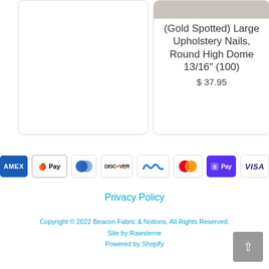[Figure (other): Product card (right) showing gold spotted upholstery nails with a beige image area at top]
(Gold Spotted) Large Upholstery Nails, Round High Dome 13/16" (100)
$ 37.95
[Figure (other): Row of payment method icons: American Express, Apple Pay, Diners Club, Discover, Meta Pay, Mastercard, ShopPay, Visa]
Privacy Policy
Copyright © 2022 Beacon Fabric & Notions. All Rights Reserved.
Site by Rawsterne
Powered by Shopify